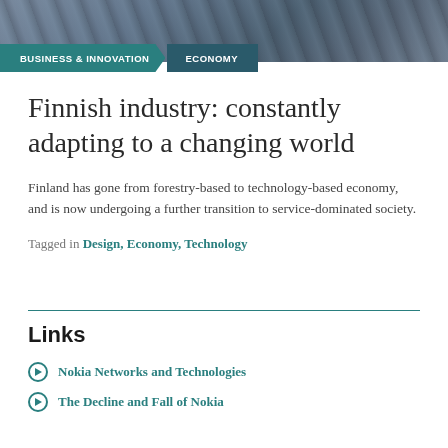[Figure (photo): Architectural/structural photo strip showing diagonal lines and metallic surfaces in blue-grey tones]
BUSINESS & INNOVATION / ECONOMY
Finnish industry: constantly adapting to a changing world
Finland has gone from forestry-based to technology-based economy, and is now undergoing a further transition to service-dominated society.
Tagged in Design, Economy, Technology
Links
Nokia Networks and Technologies
The Decline and Fall of Nokia